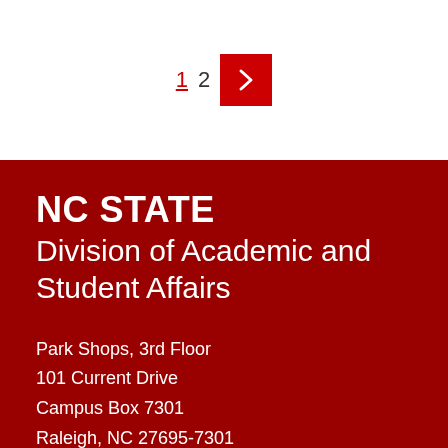1  2  →
NC STATE
Division of Academic and Student Affairs
Park Shops, 3rd Floor
101 Current Drive
Campus Box 7301
Raleigh, NC 27695-7301